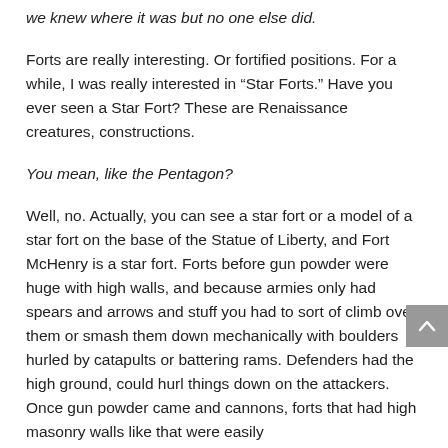we knew where it was but no one else did.
Forts are really interesting. Or fortified positions. For a while, I was really interested in “Star Forts.” Have you ever seen a Star Fort? These are Renaissance creatures, constructions.
You mean, like the Pentagon?
Well, no. Actually, you can see a star fort or a model of a star fort on the base of the Statue of Liberty, and Fort McHenry is a star fort. Forts before gun powder were huge with high walls, and because armies only had spears and arrows and stuff you had to sort of climb over them or smash them down mechanically with boulders hurled by catapults or battering rams. Defenders had the high ground, could hurl things down on the attackers. Once gun powder came and cannons, forts that had high masonry walls like that were easily